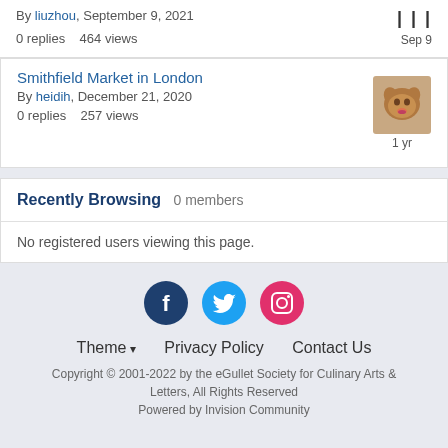By liuzhou, September 9, 2021
0 replies   464 views
Smithfield Market in London
By heidih, December 21, 2020
0 replies   257 views
1 yr
Recently Browsing   0 members
No registered users viewing this page.
[Figure (infographic): Social media icons: Facebook (dark blue circle with f), Twitter (cyan circle with bird), Instagram (pink/red circle with camera outline)]
Theme ▾   Privacy Policy   Contact Us
Copyright © 2001-2022 by the eGullet Society for Culinary Arts & Letters, All Rights Reserved
Powered by Invision Community